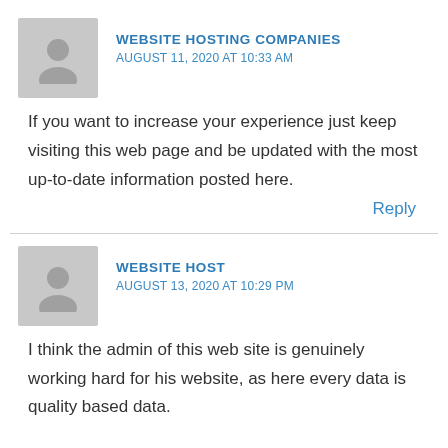WEBSITE HOSTING COMPANIES
AUGUST 11, 2020 AT 10:33 AM
If you want to increase your experience just keep visiting this web page and be updated with the most up-to-date information posted here.
Reply
WEBSITE HOST
AUGUST 13, 2020 AT 10:29 PM
I think the admin of this web site is genuinely working hard for his website, as here every data is quality based data.